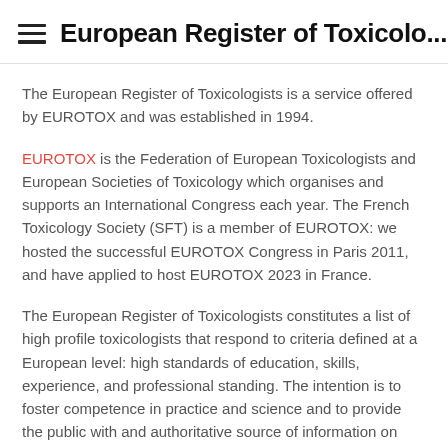≡ European Register of Toxicolo...
The European Register of Toxicologists is a service offered by EUROTOX and was established in 1994.
EUROTOX is the Federation of European Toxicologists and European Societies of Toxicology which organises and supports an International Congress each year. The French Toxicology Society (SFT) is a member of EUROTOX: we hosted the successful EUROTOX Congress in Paris 2011, and have applied to host EUROTOX 2023 in France.
The European Register of Toxicologists constitutes a list of high profile toxicologists that respond to criteria defined at a European level: high standards of education, skills, experience, and professional standing. The intention is to foster competence in practice and science and to provide the public with and authoritative source of information on toxicological